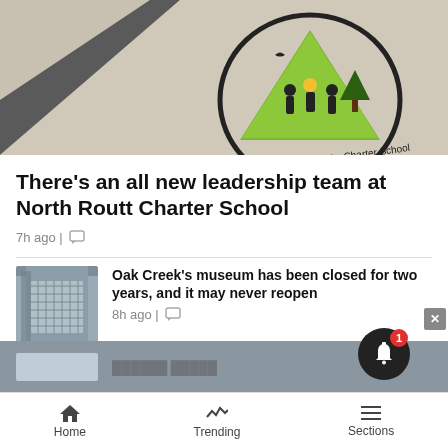[Figure (photo): Photo of a floor with North Routt Community Charter School logo painted on it — a green triangle emblem with silhouettes of people and text around a circle]
There's an all new leadership team at North Routt Charter School
7h ago | [comment icon]
[Figure (photo): Thumbnail photo of a building exterior with metal grating, likely the Oak Creek museum]
Oak Creek's museum has been closed for two years, and it may never reopen
8h ago | [comment icon]
Home   Trending   Sections